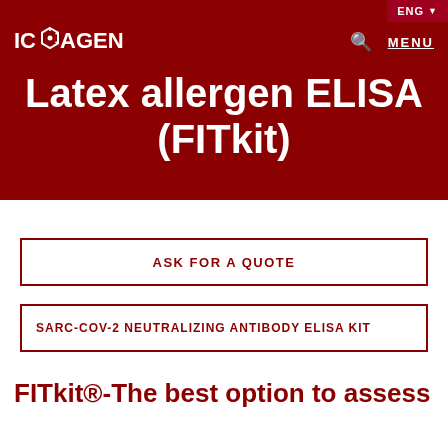ENG
[Figure (logo): Icosagen logo with stylized hexagonal molecular structure icon in white on dark red background, text reads IC(hexagon)AGEN]
Latex allergen ELISA (FITkit)
ASK FOR A QUOTE
SARC-COV-2 NEUTRALIZING ANTIBODY ELISA KIT
FITkit®-The best option to assess